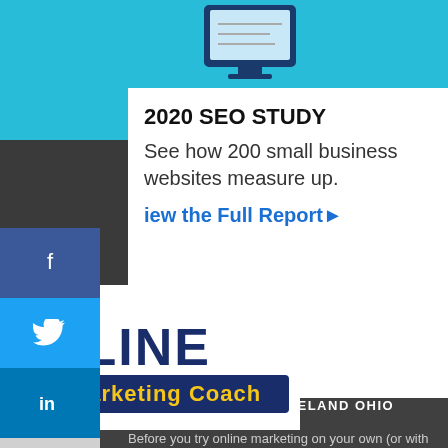[Figure (screenshot): Screenshot of a webpage showing a 2020 SEO Study promotional card, social media share buttons (Facebook, Twitter, LinkedIn, plus), a consultant heading, Online Marketing Coach logo, and beginning of body text.]
2020 SEO STUDY
See how 200 small business websites measure up.
View the Full Report ▶
CONSULTANT IN CLEVELAND OHIO
[Figure (logo): Online Marketing Coach logo with a mouse cursor icon replacing the O in ONLINE, dark navy text and gold/yellow Marketing Coach banner.]
Before you try online marketing on your own (or with the wrong